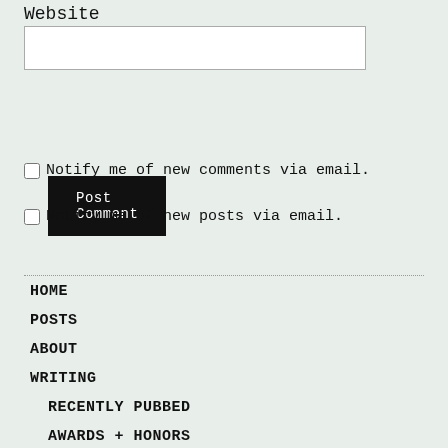Website
Post Comment
Notify me of new comments via email.
Notify me of new posts via email.
HOME
POSTS
ABOUT
WRITING
RECENTLY PUBBED
AWARDS + HONORS